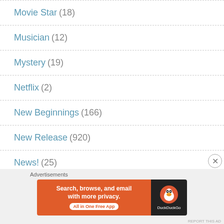Movie Star (18)
Musician (12)
Mystery (19)
Netflix (2)
New Beginnings (166)
New Release (920)
News! (25)
Not Romance! (5)
Advertisements
[Figure (screenshot): DuckDuckGo advertisement banner: 'Search, browse, and email with more privacy. All in One Free App' with DuckDuckGo logo on dark background]